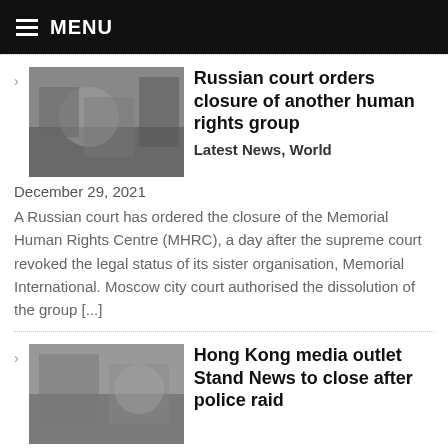MENU
Russian court orders closure of another human rights group — Latest News, World — December 29, 2021 — A Russian court has ordered the closure of the Memorial Human Rights Centre (MHRC), a day after the supreme court revoked the legal status of its sister organisation, Memorial International. Moscow city court authorised the dissolution of the group [...]
Hong Kong media outlet Stand News to close after police raid